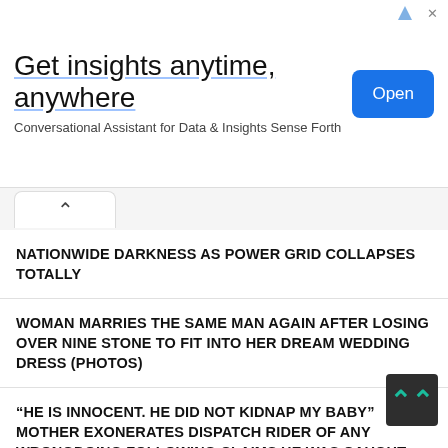[Figure (screenshot): Advertisement banner: 'Get insights anytime, anywhere' with 'Conversational Assistant for Data & Insights Sense Forth' subtitle and blue 'Open' button]
NATIONWIDE DARKNESS AS POWER GRID COLLAPSES TOTALLY
WOMAN MARRIES THE SAME MAN AGAIN AFTER LOSING OVER NINE STONE TO FIT INTO HER DREAM WEDDING DRESS (PHOTOS)
“HE IS INNOCENT. HE DID NOT KIDNAP MY BABY” MOTHER EXONERATES DISPATCH RIDER OF ANY WRONGDOING FOLLOWING CLAIMS HE WAS CAUGHT WITH A BABY IN HIS DELIVERY BOX (photos)
DON’T CONFUSE LIVING A SOFT LIFE FOR BEING AN ESCORT – NIGERIAN BUSINESSMAN, JOWIZAZA’S ALLEGED EX-GIRLFRIEND, SOPHIA EGBUEJE SAYS AFTER PHOTOS OF HIS ALLEGED GIRLFRIEND WENT VIRAL
CHECK OUT THE RUSSIAN MOVEABLE BRIDGE CALLED PALACE